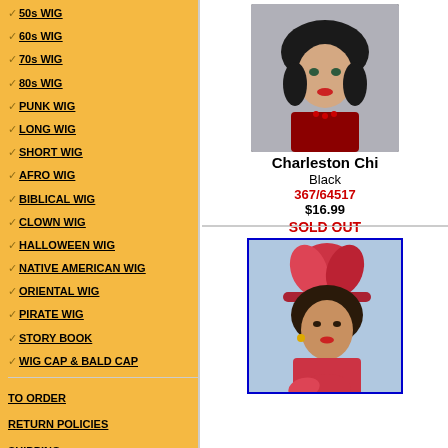50s WIG
60s WIG
70s WIG
80s WIG
PUNK WIG
LONG WIG
SHORT WIG
AFRO WIG
BIBLICAL WIG
CLOWN WIG
HALLOWEEN WIG
NATIVE AMERICAN WIG
ORIENTAL WIG
PIRATE WIG
STORY BOOK
WIG CAP & BALD CAP
TO ORDER
RETURN POLICIES
SHIPPING
For More Great
[Figure (photo): Woman wearing a black bob wig with bangs, Charleston style, wearing a red sequined outfit with beaded necklace]
Charleston Chi
Black
367/64517
$16.99

SOLD OUT
[Figure (photo): Woman wearing a curly dark wig with a red feathered headband and pink/red feathers, 1920s Charleston style]